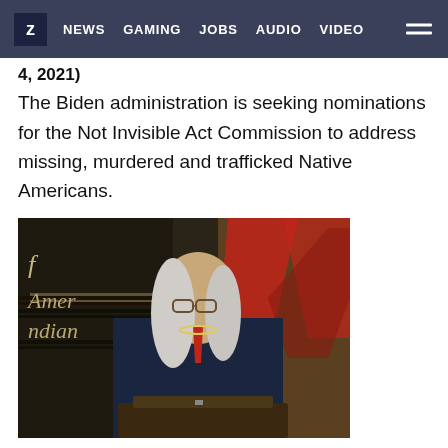Z  NEWS  GAMING  JOBS  AUDIO  VIDEO
4, 2021)
The Biden administration is seeking nominations for the Not Invisible Act Commission to address missing, murdered and trafficked Native Americans.
[Figure (photo): A person with long gray hair wearing a dark blazer and red tie with a beaded necklace stands at a podium. Behind them is a backdrop with text reading 'of Americans Indians' and a red design. The setting appears to be a formal Native American event or conference.]
Aaron Payment: Investing in infrastructure in Indian Country